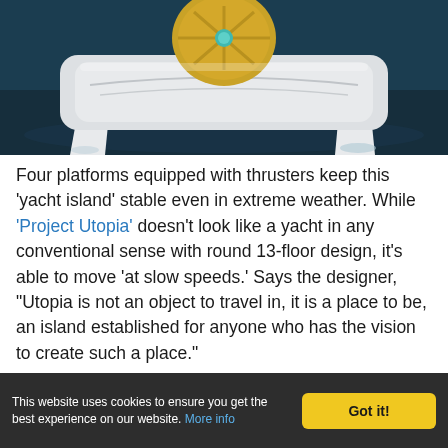[Figure (photo): Close-up aerial view of a futuristic circular yacht island concept called 'Project Utopia', featuring a gold circular top element with turquoise detail, white angular hull structure with four platform legs, set against dark water.]
Four platforms equipped with thrusters keep this 'yacht island' stable even in extreme weather. While 'Project Utopia' doesn't look like a yacht in any conventional sense with round 13-floor design, it's able to move 'at slow speeds.' Says the designer, "Utopia is not an object to travel in, it is a place to be, an island established for anyone who has the vision to create such a place."
This website uses cookies to ensure you get the best experience on our website. More info  Got it!